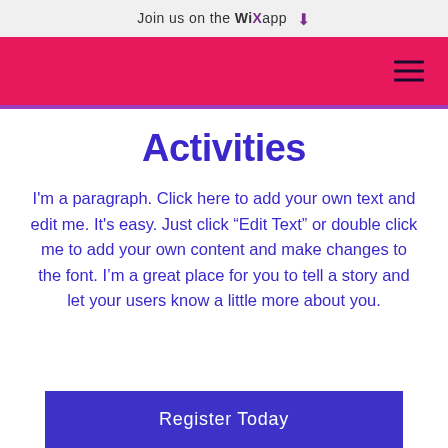Join us on the WiX app
Activities
I'm a paragraph. Click here to add your own text and edit me. It's easy. Just click “Edit Text” or double click me to add your own content and make changes to the font. I’m a great place for you to tell a story and let your users know a little more about you.
Register Today